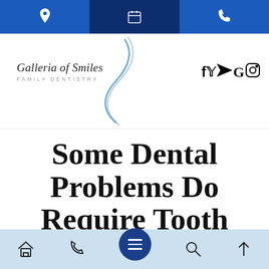Navigation bar with location, calendar, and phone icons
[Figure (logo): Galleria of Smiles Family Dentistry logo with S-curve graphic and social media icons (f, Twitter, YouTube, G, Instagram)]
Some Dental Problems Do Require Tooth Removal
Bottom navigation bar with home, phone, menu, search, and up-arrow icons